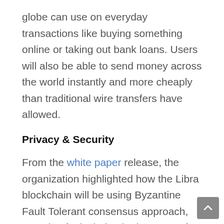globe can use on everyday transactions like buying something online or taking out bank loans. Users will also be able to send money across the world instantly and more cheaply than traditional wire transfers have allowed.
Privacy & Security
From the white paper release, the organization highlighted how the Libra blockchain will be using Byzantine Fault Tolerant consensus approach, meaning faulty behavior by some of the actors in the network will not compromise the security of the broader network. It states,"[The Libra blockchain makes] it extraordinarily difficult for an attacker to compromise 33 separately run nodes that would be